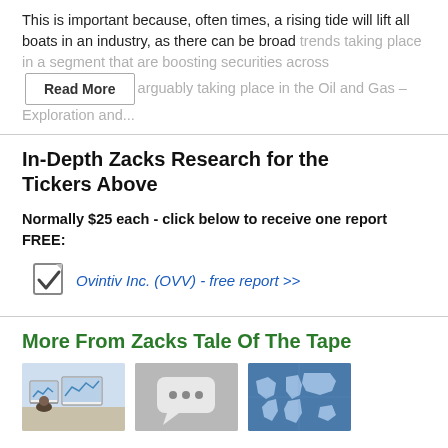This is important because, often times, a rising tide will lift all boats in an industry, as there can be broad trends taking place in a segment that are boosting securities across [Read More] arguably taking place in the Oil and Gas – Exploration and...
In-Depth Zacks Research for the Tickers Above
Normally $25 each - click below to receive one report FREE:
Ovintiv Inc. (OVV) - free report >>
More From Zacks Tale Of The Tape
[Figure (photo): Person sitting at desk with multiple computer monitors showing financial charts]
[Figure (photo): Gray background with speech bubble / chat icon]
[Figure (photo): Blue world map illustration]